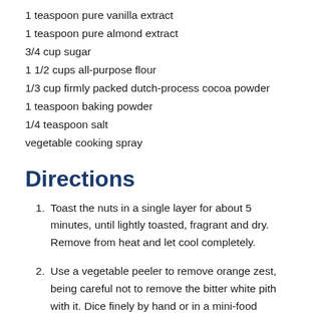1 teaspoon pure vanilla extract
1 teaspoon pure almond extract
3/4 cup sugar
1 1/2 cups all-purpose flour
1/3 cup firmly packed dutch-process cocoa powder
1 teaspoon baking powder
1/4 teaspoon salt
vegetable cooking spray
Directions
Toast the nuts in a single layer for about 5 minutes, until lightly toasted, fragrant and dry. Remove from heat and let cool completely.
Use a vegetable peeler to remove orange zest, being careful not to remove the bitter white pith with it. Dice finely by hand or in a mini-food processor bowl with some of the sugar from the recipe. Squeeze juice from